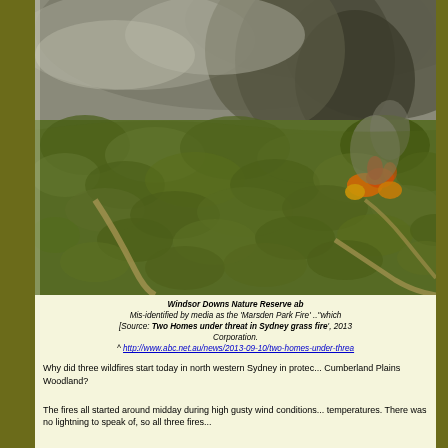[Figure (photo): Aerial photograph of Windsor Downs Nature Reserve showing bushfire with smoke and flames visible among dense green tree canopy, with dirt tracks visible through the bush.]
Windsor Downs Nature Reserve ab... Mis-identified by media as the 'Marsden Park Fire' .."which... [Source: Two Homes under threat in Sydney grass fire', 2013... Corporation. ^ http://www.abc.net.au/news/2013-09-10/two-homes-under-threa...
Why did three wildfires start today in north western Sydney in protec... Cumberland Plains Woodland?
The fires all started around midday during high gusty wind conditions... temperatures. There was no lightning to speak of, so all three fires...